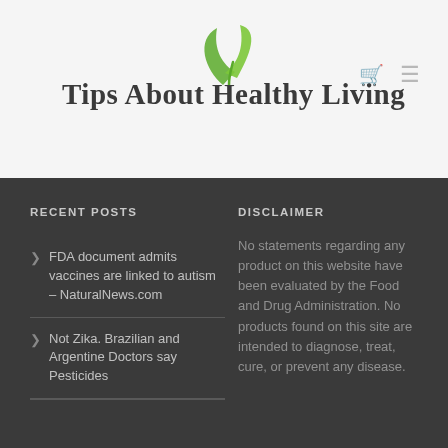[Figure (logo): Green leaf logo with text 'Tips About Healthy Living']
Tips About Healthy Living
RECENT POSTS
FDA document admits vaccines are linked to autism – NaturalNews.com
Not Zika. Brazilian and Argentine Doctors say Pesticides
DISCLAIMER
No statements regarding any product on this website have been evaluated by the Food and Drug Administration. No products found on this site are intended to diagnose, treat, cure, or prevent any disease.